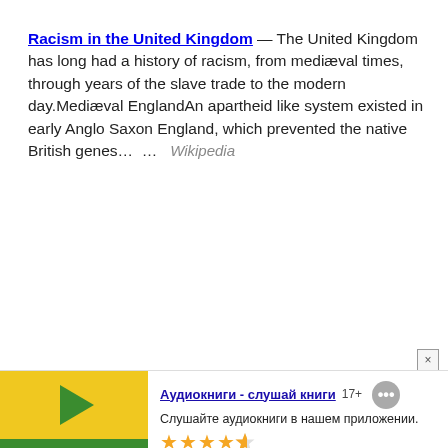Racism in the United Kingdom — The United Kingdom has long had a history of racism, from mediæval times, through years of the slave trade to the modern day.Mediæval EnglandAn apartheid like system existed in early Anglo Saxon England, which prevented the native British genes… … Wikipedia
[Figure (screenshot): Mobile app advertisement banner for Аудиокниги (Audiobooks) app with green and yellow logo, Russian text, star rating, and install button]